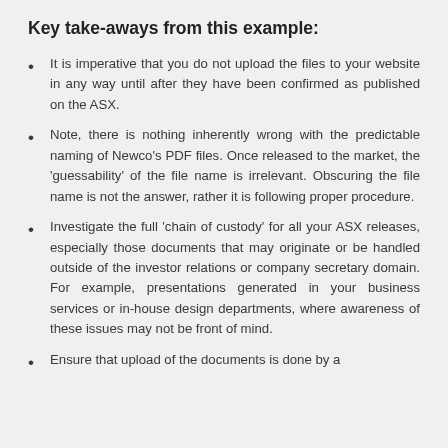Key take-aways from this example:
It is imperative that you do not upload the files to your website in any way until after they have been confirmed as published on the ASX.
Note, there is nothing inherently wrong with the predictable naming of Newco's PDF files. Once released to the market, the 'guessability' of the file name is irrelevant. Obscuring the file name is not the answer, rather it is following proper procedure.
Investigate the full 'chain of custody' for all your ASX releases, especially those documents that may originate or be handled outside of the investor relations or company secretary domain. For example, presentations generated in your business services or in-house design departments, where awareness of these issues may not be front of mind.
Ensure that upload of the documents is done by a